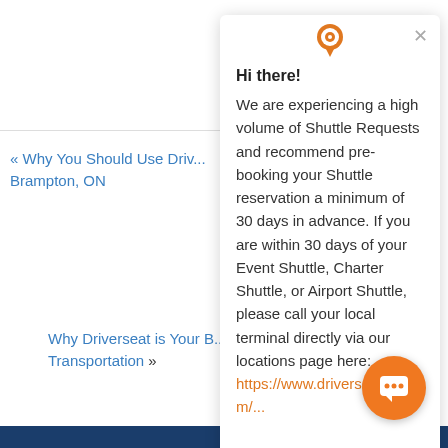« Why You Should Use Driv... Brampton, ON
Why Driverseat is Your B... Transportation »
[Figure (illustration): Gray silhouette avatar placeholder image]
[Figure (screenshot): Chat popup widget from driverseatinc.com with location pin icon at top, close X button, greeting 'Hi there!' and message about high volume of Shuttle Requests, recommending pre-booking 30 days in advance, with a link to https://www.driverseatinc.com/...]
Hi there! We are experiencing a high volume of Shuttle Requests and recommend pre-booking your Shuttle reservation a minimum of 30 days in advance. If you are within 30 days of your Event Shuttle, Charter Shuttle, or Airport Shuttle, please call your local terminal directly via our locations page here: https://www.driverseatinc.com/...
[Figure (illustration): Orange circular chat bubble button in bottom right corner]